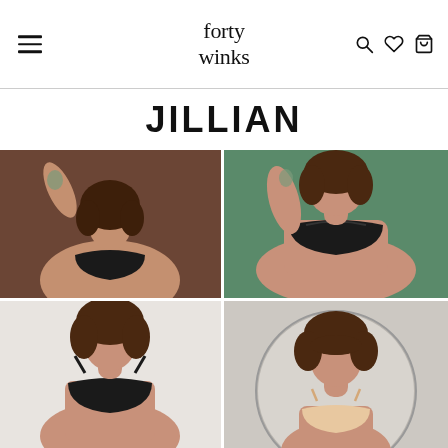forty winks
JILLIAN
[Figure (photo): Woman with curly brown hair and tattoo on arm, wearing a black sheer bra, arm raised, brown background]
[Figure (photo): Woman with curly hair lying back on green bedding, wearing a black lace bra, arms raised]
[Figure (photo): Woman with curly brown hair wearing a black bra, white background, looking toward camera]
[Figure (photo): Woman with curly hair reflected in a round mirror, wearing a light-colored bra, partial view]